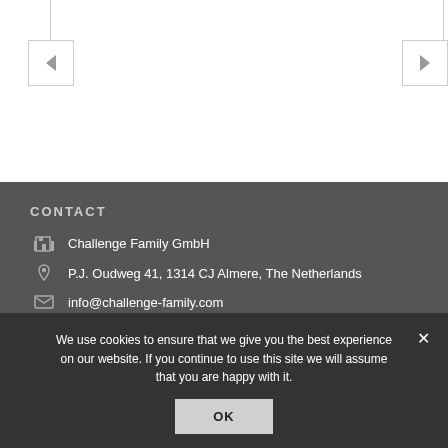[Figure (illustration): Navigation arrows on white background — left arrow box on left side, right arrow box on right side, with vertical lines connecting to top border]
CONTACT
Challenge Family GmbH
P.J. Oudweg 41, 1314 CJ Almere, The Netherlands
info@challenge-family.com
www.challenge-family.com
We use cookies to ensure that we give you the best experience on our website. If you continue to use this site we will assume that you are happy with it.
OK